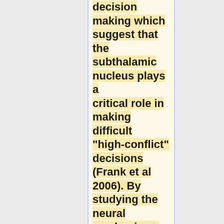decision making which suggest that the subthalamic nucleus plays a critical role in making difficult "high-conflict" decisions (Frank et al 2006). By studying the neural mechanisms underlying human learning and decision making, we hope lay the neurophysiological groundwork for understanding the